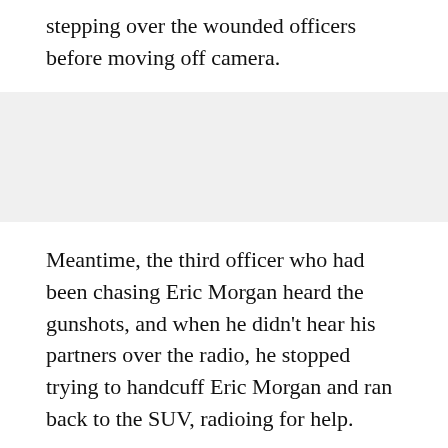stepping over the wounded officers before moving off camera.
[Figure (other): Gray placeholder/advertisement block]
Meantime, the third officer who had been chasing Eric Morgan heard the gunshots, and when he didn't hear his partners over the radio, he stopped trying to handcuff Eric Morgan and ran back to the SUV, radioing for help.
The third officer spotted Emonte Mogran, who fired at him from the back of the SUV. That officer returned fire and fell to the ground, prosecutors said. When he stood back up, he saw Emonte and Eric